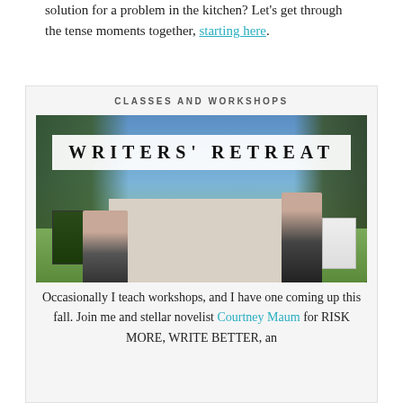solution for a problem in the kitchen? Let's get through the tense moments together, starting here.
CLASSES AND WORKSHOPS
[Figure (photo): Writers' Retreat promotional banner image showing a large house/estate with trees, lawn, two people (authors), and book covers overlaid, with a white banner reading 'WRITERS' RETREAT']
Occasionally I teach workshops, and I have one coming up this fall. Join me and stellar novelist Courtney Maum for RISK MORE, WRITE BETTER, an